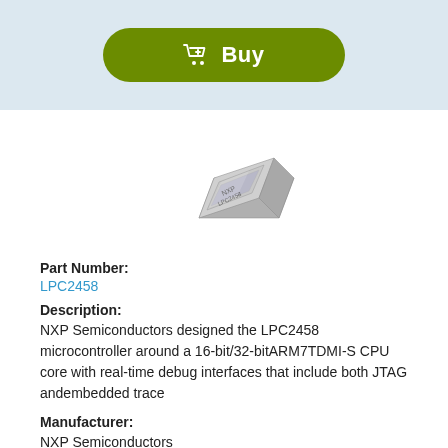[Figure (other): Green pill-shaped Buy button with shopping cart icon and text 'Buy']
[Figure (photo): Photograph of an NXP LPC2458 microcontroller chip in BGA package, shown at an angle]
Part Number:
LPC2458
Description:
NXP Semiconductors designed the LPC2458 microcontroller around a 16-bit/32-bitARM7TDMI-S CPU core with real-time debug interfaces that include both JTAG andembedded trace
Manufacturer:
NXP Semiconductors
Datasheet: